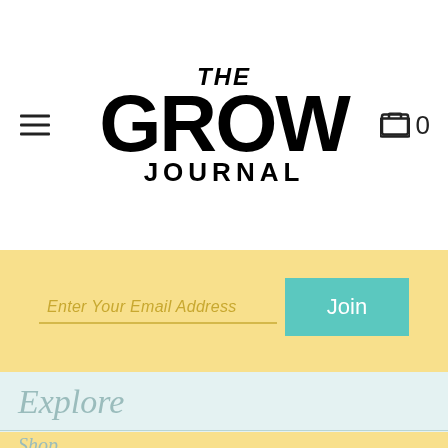THE GROW JOURNAL
Enter Your Email Address
Join
[Figure (illustration): Social media icons: Facebook, Pinterest, Instagram in white on yellow background]
Explore
Shop
Wholesale